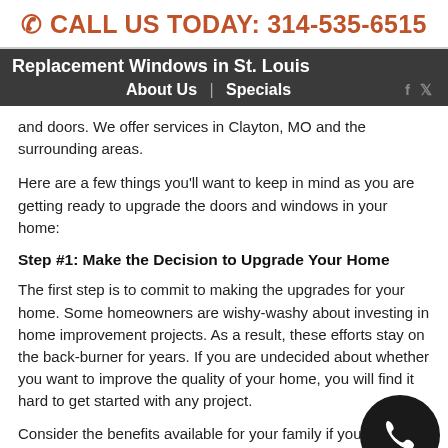☎ CALL US TODAY: 314-535-6515
Replacement Windows in St. Louis  About Us  |  Specials
and doors. We offer services in Clayton, MO and the surrounding areas.
Here are a few things you'll want to keep in mind as you are getting ready to upgrade the doors and windows in your home:
Step #1: Make the Decision to Upgrade Your Home
The first step is to commit to making the upgrades for your home. Some homeowners are wishy-washy about investing in home improvement projects. As a result, these efforts stay on the back-burner for years. If you are undecided about whether you want to improve the quality of your home, you will find it hard to get started with any project.
Consider the benefits available for your family if you